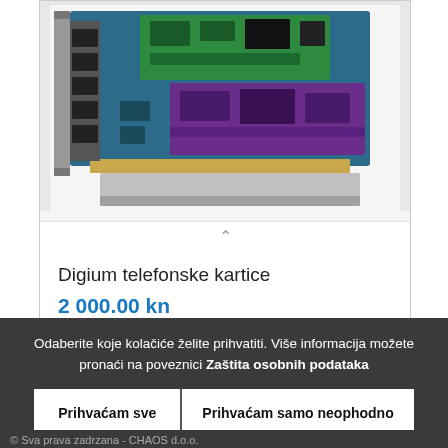[Figure (photo): Photo of Digium telephone PCI card showing green, purple and blue PCBs with chips and connectors]
Digium telefonske kartice
2 000.00 kn
Odaberite koje kolačiće želite prihvatiti. Više informacija možete pronaći na poveznici Zaštita osobnih podataka
Prihvaćam sve
Prihvaćam samo neophodno
© Sva prava zadrzana - CHAOS d.o.o.